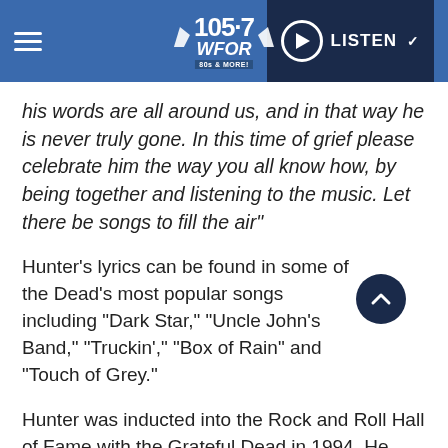105.7 WFOR 80s & More! — LISTEN
his words are all around us, and in that way he is never truly gone. In this time of grief please celebrate him the way you all know how, by being together and listening to the music. Let there be songs to fill the air"
Hunter's lyrics can be found in some of the Dead's most popular songs including “Dark Star,” “Uncle John’s Band,” “Truckin’,” “Box of Rain” and “Touch of Grey.”
Hunter was inducted into the Rock and Roll Hall of Fame with the Grateful Dead in 1994. He